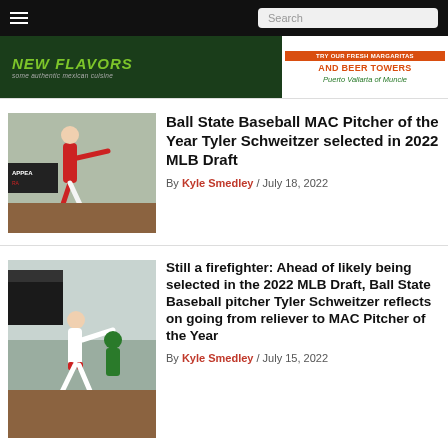≡  Search
[Figure (photo): Advertisement banner: NEW FLAVORS some authentic mexican cuisine / AND BEER TOWERS / Puerto Vallarta of Muncie]
[Figure (photo): Baseball pitcher in white uniform mid-throw on a baseball field]
Ball State Baseball MAC Pitcher of the Year Tyler Schweitzer selected in 2022 MLB Draft
By Kyle Smedley / July 18, 2022
[Figure (photo): Baseball pitcher in white uniform mid-pitch on field with other players in background]
Still a firefighter: Ahead of likely being selected in the 2022 MLB Draft, Ball State Baseball pitcher Tyler Schweitzer reflects on going from reliever to MAC Pitcher of the Year
By Kyle Smedley / July 15, 2022